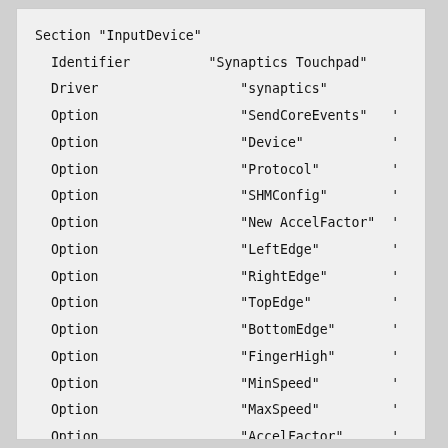Section "InputDevice"
  Identifier      "Synaptics Touchpad"
  Driver          "synaptics"
  Option          "SendCoreEvents"   '
  Option          "Device"           '
  Option          "Protocol"         '
  Option          "SHMConfig"        '
  Option          "New AccelFactor"  '
  Option          "LeftEdge"         '
  Option          "RightEdge"        '
  Option          "TopEdge"          '
  Option          "BottomEdge"       '
  Option          "FingerHigh"       '
  Option          "MinSpeed"         '
  Option          "MaxSpeed"         '
  Option          "AccelFactor"      '
  Option          "Fingerlow"        '